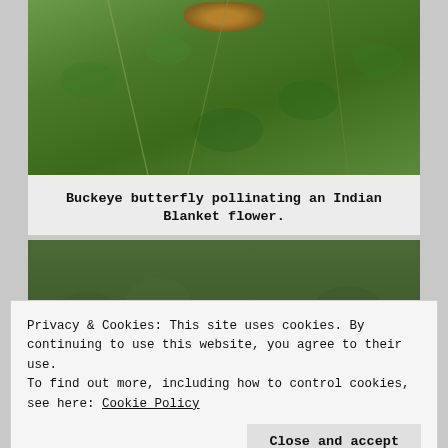[Figure (photo): Buckeye butterfly on Indian Blanket flower among green foliage and twigs]
Buckeye butterfly pollinating an Indian Blanket flower.
[Figure (photo): Low-growing plants on sandy ground with a single yellow flower, Beach Evening Primrose]
Privacy & Cookies: This site uses cookies. By continuing to use this website, you agree to their use.
To find out more, including how to control cookies, see here: Cookie Policy
Close and accept
Beach Evening Primrose.